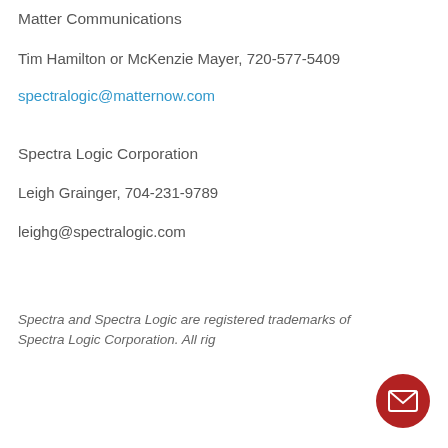Matter Communications
Tim Hamilton or McKenzie Mayer, 720-577-5409
spectralogic@matternow.com
Spectra Logic Corporation
Leigh Grainger, 704-231-9789
leighg@spectralogic.com
Spectra and Spectra Logic are registered trademarks of Spectra Logic Corporation. All rig...